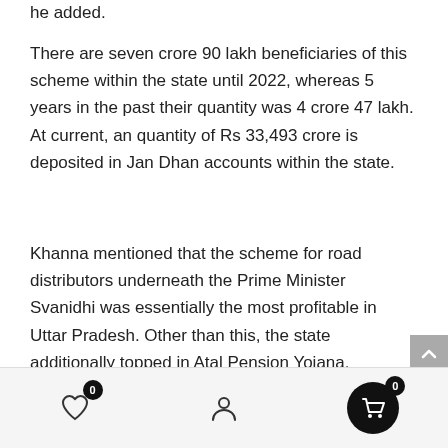he added.
There are seven crore 90 lakh beneficiaries of this scheme within the state until 2022, whereas 5 years in the past their quantity was 4 crore 47 lakh. At current, an quantity of Rs 33,493 crore is deposited in Jan Dhan accounts within the state.
Khanna mentioned that the scheme for road distributors underneath the Prime Minister Svanidhi was essentially the most profitable in Uttar Pradesh. Other than this, the state additionally topped in Atal Pension Yojana.
Navigation bar with wishlist (0), account, and cart (0) icons